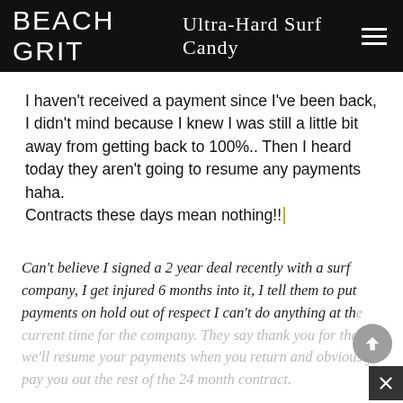BEACH GRIT Ultra-Hard Surf Candy
I haven't received a payment since I've been back, I didn't mind because I knew I was still a little bit away from getting back to 100%.. Then I heard today they aren't going to resume any payments haha. Contracts these days mean nothing!!
Can't believe I signed a 2 year deal recently with a surf company, I get injured 6 months into it, I tell them to put payments on hold out of respect I can't do anything at the current time for the company. They say thank you for that, we'll resume your payments when you return and obviously pay you out the rest of the 24 month contract.